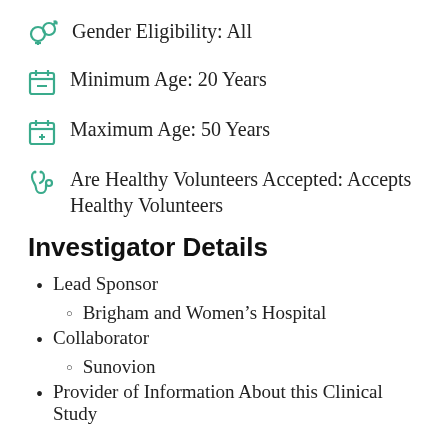Gender Eligibility: All
Minimum Age: 20 Years
Maximum Age: 50 Years
Are Healthy Volunteers Accepted: Accepts Healthy Volunteers
Investigator Details
Lead Sponsor
Brigham and Women's Hospital
Collaborator
Sunovion
Provider of Information About this Clinical Study